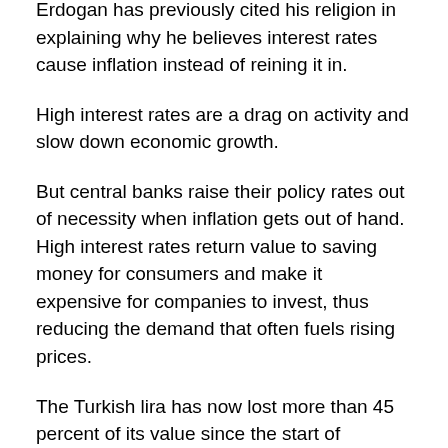Erdogan has previously cited his religion in explaining why he believes interest rates cause inflation instead of reining it in.
High interest rates are a drag on activity and slow down economic growth.
But central banks raise their policy rates out of necessity when inflation gets out of hand. High interest rates return value to saving money for consumers and make it expensive for companies to invest, thus reducing the demand that often fuels rising prices.
The Turkish lira has now lost more than 45 percent of its value since the start of November alone.
It fell Monday by as much as 10 percent against the dollar before paring back some of the losses.
The main stock exchange in Istanbul also briefly suspended trading for the second successive session as the currency rout extended to Turkish shares.